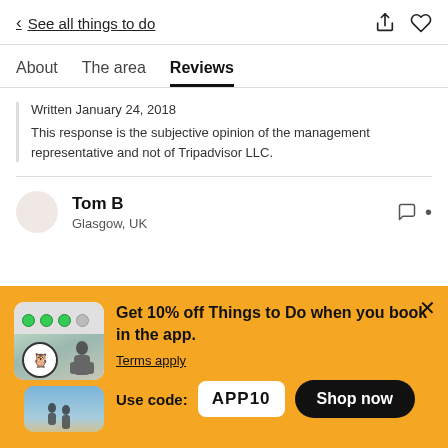< See all things to do
About   The area   Reviews
Written January 24, 2018
This response is the subjective opinion of the management representative and not of Tripadvisor LLC.
Tom B
Glasgow, UK
[Figure (infographic): Yellow promotional banner: Get 10% off Things to Do when you book in the app. Terms apply. Use code: APP10. Shop now button. Close (X) button top right. App screenshot images on the left.]